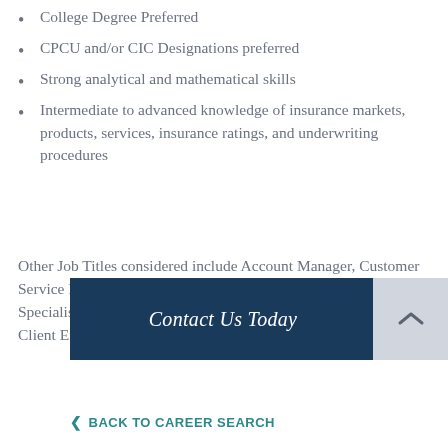College Degree Preferred
CPCU and/or CIC Designations preferred
Strong analytical and mathematical skills
Intermediate to advanced knowledge of insurance markets, products, services, insurance ratings, and underwriting procedures
Other Job Titles considered include Account Manager, Customer Service Representative, CSR, Account Representative, Account Specialist, Account Associate, Client Relationship Manager, Client Engagement Specialist
Contact Us Today
< BACK TO CAREER SEARCH